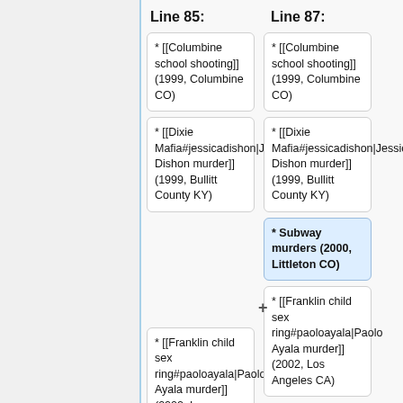Line 85:
Line 87:
* [[Columbine school shooting]] (1999, Columbine CO)
* [[Columbine school shooting]] (1999, Columbine CO)
* [[Dixie Mafia#jessicadishon|Jessica Dishon murder]] (1999, Bullitt County KY)
* [[Dixie Mafia#jessicadishon|Jessica Dishon murder]] (1999, Bullitt County KY)
* Subway murders (2000, Littleton CO)
* [[Franklin child sex ring#paoloayala|Paolo Ayala murder]] (2002, Los Angeles CA)
* [[Franklin child sex ring#paoloayala|Paolo Ayala murder]] (2002, Los Angeles CA)